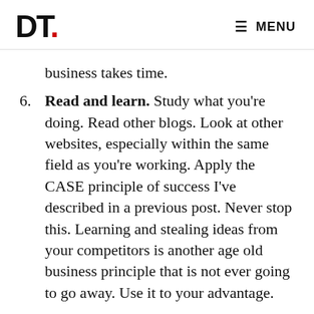DT. MENU
business takes time.
6. Read and learn. Study what you're doing. Read other blogs. Look at other websites, especially within the same field as you're working. Apply the CASE principle of success I've described in a previous post. Never stop this. Learning and stealing ideas from your competitors is another age old business principle that is not ever going to go away. Use it to your advantage.
7. Don't quit. Be consistent. As I say so many